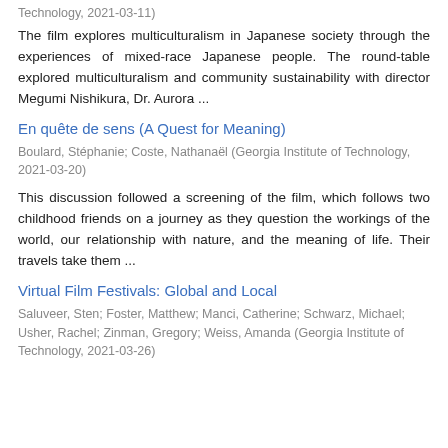Technology, 2021-03-11)
The film explores multiculturalism in Japanese society through the experiences of mixed-race Japanese people. The round-table explored multiculturalism and community sustainability with director Megumi Nishikura, Dr. Aurora ...
En quête de sens (A Quest for Meaning)
Boulard, Stéphanie; Coste, Nathanaël (Georgia Institute of Technology, 2021-03-20)
This discussion followed a screening of the film, which follows two childhood friends on a journey as they question the workings of the world, our relationship with nature, and the meaning of life. Their travels take them ...
Virtual Film Festivals: Global and Local
Saluveer, Sten; Foster, Matthew; Manci, Catherine; Schwarz, Michael; Usher, Rachel; Zinman, Gregory; Weiss, Amanda (Georgia Institute of Technology, 2021-03-26)